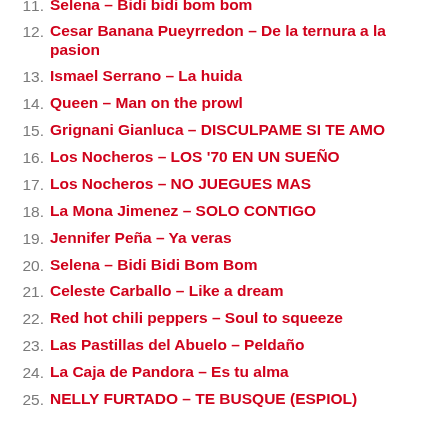11. Selena – Bidi bidi bom bom
12. Cesar Banana Pueyrredon – De la ternura a la pasion
13. Ismael Serrano – La huida
14. Queen – Man on the prowl
15. Grignani Gianluca – DISCULPAME SI TE AMO
16. Los Nocheros – LOS '70 EN UN SUEÑO
17. Los Nocheros – NO JUEGUES MAS
18. La Mona Jimenez – SOLO CONTIGO
19. Jennifer Peña – Ya veras
20. Selena – Bidi Bidi Bom Bom
21. Celeste Carballo – Like a dream
22. Red hot chili peppers – Soul to squeeze
23. Las Pastillas del Abuelo – Peldaño
24. La Caja de Pandora – Es tu alma
25. NELLY FURTADO – TE BUSQUE (ESPIOL)